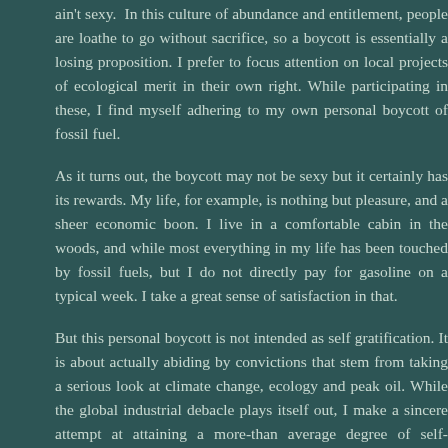ain't sexy. In this culture of abundance and entitlement, people are loathe to go without sacrifice, so a boycott is essentially a losing proposition. I prefer to focus attention on local projects of ecological merit in their own right. While participating in these, I find myself adhering to my own personal boycott of fossil fuel.
As it turns out, the boycott may not be sexy but it certainly has its rewards. My life, for example, is nothing but pleasure, and a sheer economic boon. I live in a comfortable cabin in the woods, and while most everything in my life has been touched by fossil fuels, but I do not directly pay for gasoline on a typical week. I take a great sense of satisfaction in that.
But this personal boycott is not intended as self gratification. It is about actually abiding by convictions that stem from taking a serious look at climate change, ecology and peak oil. While the global industrial debacle plays itself out, I make a sincere attempt at attaining a more-than average degree of self-sufficiency. The more complex the systems and technology I engage with, the more dependent I become when those systems and technologies fail, which they invariably do. My evolving understanding of "appropriate technology" (by no means an exclusively rural concept) is to be interpreted as an anticipation of an apocalyptic downfall of civilization but simply an understanding that downturns and failures can happen at any time, and the realisation that self-empowerment and community as opposed to dependence on corporate global systems (such as supply chains), including their technologies, represents a refreshing kind of freedom.